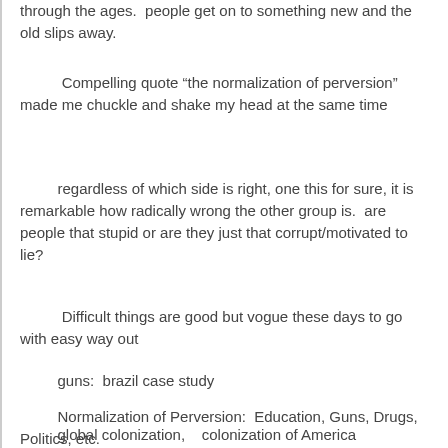through the ages.  people get on to something new and the old slips away.
Compelling quote “the normalization of perversion” made me chuckle and shake my head at the same time
regardless of which side is right, one this for sure, it is remarkable how radically wrong the other group is.  are people that stupid or are they just that corrupt/motivated to lie?
Difficult things are good but vogue these days to go with easy way out
guns:  brazil case study
Normalization of Perversion:  Education, Guns, Drugs, Politics, etc.
global colonization,   colonization of America